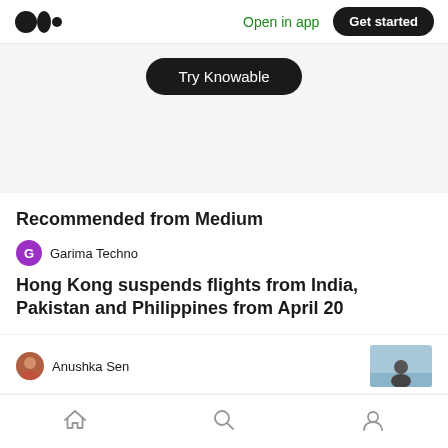Open in app  Get started
Try Knowable
Recommended from Medium
Garima Techno
Hong Kong suspends flights from India, Pakistan and Philippines from April 20
Anushka Sen
[Figure (photo): Thumbnail photo of a person outdoors with sky background]
Home  Search  Profile